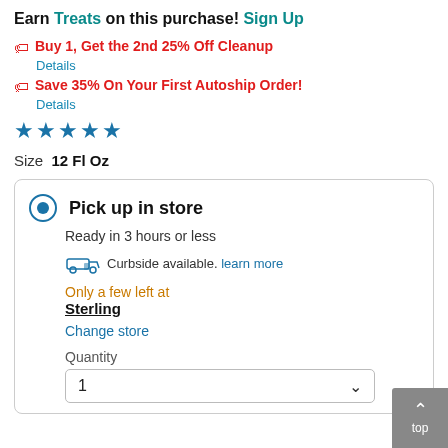Earn Treats on this purchase! Sign Up
Buy 1, Get the 2nd 25% Off Cleanup
Details
Save 35% On Your First Autoship Order!
Details
[Figure (other): Five blue star rating icons]
Size  12 Fl Oz
Pick up in store
Ready in 3 hours or less
Curbside available. learn more
Only a few left at
Sterling
Change store
Quantity
1